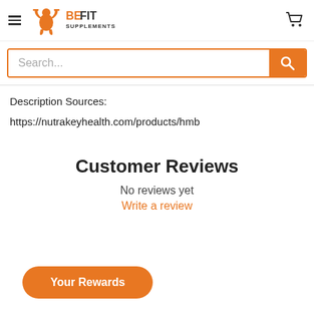BeFit Supplements — navigation header with logo, hamburger menu, and cart icon
Search...
Description Sources:
https://nutrakeyhealth.com/products/hmb
Customer Reviews
No reviews yet
Write a review
Your Rewards